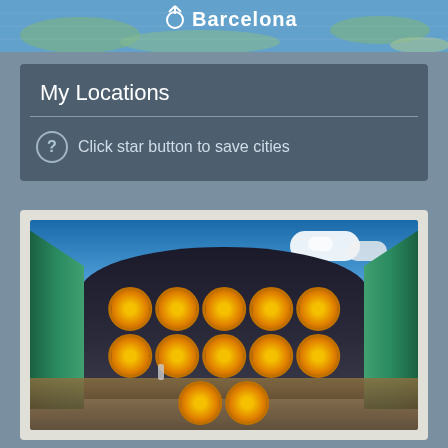[Figure (map): Satellite/map view strip showing Barcelona label with map pin icon]
My Locations
Click star button to save cities
[Figure (photo): Fisheye lens photo of large yellow industrial fans/turbines arranged in a grid inside a green curved hangar building, with blue sky and clouds visible above, ground reflection below]